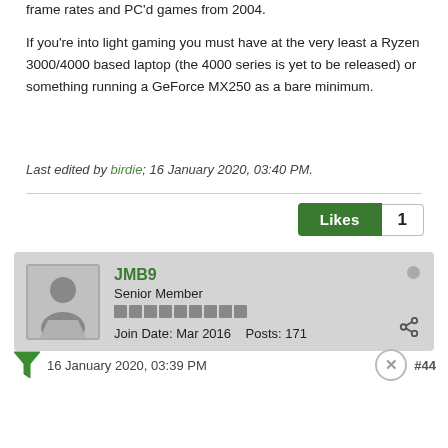frame rates and PC'd games from 2004.
If you're into light gaming you must have at the very least a Ryzen 3000/4000 based laptop (the 4000 series is yet to be released) or something running a GeForce MX250 as a bare minimum.
Last edited by birdie; 16 January 2020, 03:40 PM.
Likes 1
JMB9
Senior Member
Join Date: Mar 2016    Posts: 171
16 January 2020, 03:39 PM
#44